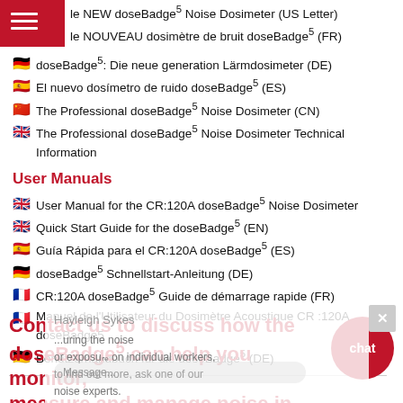le NEW doseBadge5 Noise Dosimeter (US Letter)
le NOUVEAU dosimètre de bruit doseBadge5 (FR)
doseBadge5: Die neue generation Lärmdosimeter (DE)
El nuevo dosímetro de ruido doseBadge5 (ES)
The Professional doseBadge5 Noise Dosimeter (CN)
The Professional doseBadge5 Noise Dosimeter Technical Information
User Manuals
User Manual for the CR:120A doseBadge5 Noise Dosimeter
Quick Start Guide for the doseBadge5 (EN)
Guía Rápida para el CR:120A doseBadge5 (ES)
doseBadge5 Schnellstart-Anleitung (DE)
CR:120A doseBadge5 Guide de démarrage rapide (FR)
Manuel de l'Utilisateur du Dosimètre Acoustique CR:120A doseBadge5
Benutzerhandbuch für die doseBadge5 (DE)
Contact us to discuss how the doseBadge5 can help you monitor, measure and manage noise in the